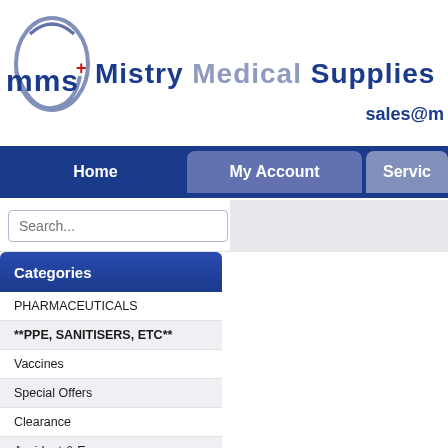[Figure (logo): MMS Mistry Medical Supplies logo with circular swoosh and red cross]
sales@m
Home | My Account | Servic...
Search... GO
Categories
PHARMACEUTICALS
**PPE, SANITISERS, ETC**
Vaccines
Special Offers
Clearance
Accident & Emergency
Airways
Manual Aspirators
Aspirators and Suction Pumps
Resuscitation